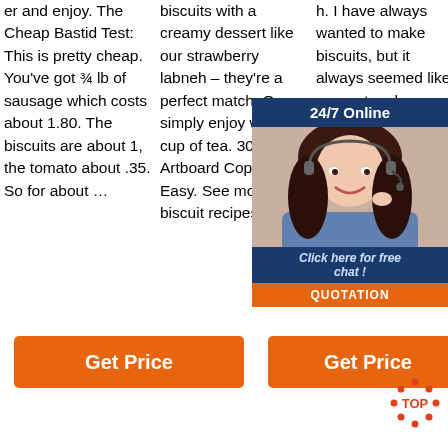er and enjoy. The Cheap Bastid Test: This is pretty cheap. You've got ¾ lb of sausage which costs about 1.80. The biscuits are about 1, the tomato about .35. So for about …
biscuits with a creamy dessert like our strawberry labneh – they're a perfect match. Or simply enjoy with a cup of tea. 30 mins. Artboard Copy 6. Easy. See more Easy biscuit recipes.
h. I have always wanted to make biscuits, but it always seemed like such a mystery. I knew biscuits back then, but there's no ... o. So ... it figured out after a month of making them twice a day.
[Figure (photo): Chat support popup with woman wearing headset, '24/7 Online' header, 'Click here for free chat!' text, and orange QUOTATION button]
Get Price
Get Price